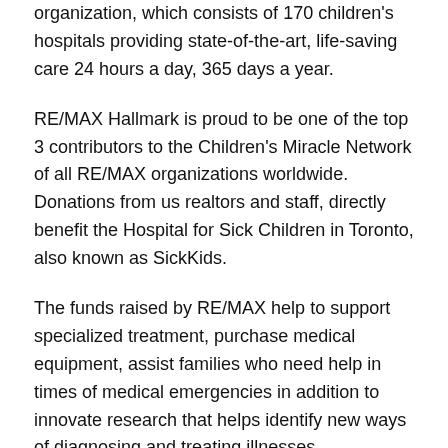organization, which consists of 170 children's hospitals providing state-of-the-art, life-saving care 24 hours a day, 365 days a year.
RE/MAX Hallmark is proud to be one of the top 3 contributors to the Children's Miracle Network of all RE/MAX organizations worldwide. Donations from us realtors and staff, directly benefit the Hospital for Sick Children in Toronto, also known as SickKids.
The funds raised by RE/MAX help to support specialized treatment, purchase medical equipment, assist families who need help in times of medical emergencies in addition to innovate research that helps identify new ways of diagnosing and treating illnesses.